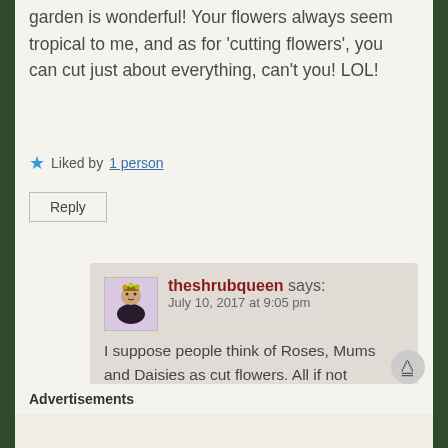garden is wonderful! Your flowers always seem tropical to me, and as for ‘cutting flowers’, you can cut just about everything, can’t you! LOL!
★ Liked by 1 person
Reply
theshrubqueen says:
July 10, 2017 at 9:05 pm
I suppose people think of Roses, Mums and Daisies as cut flowers. All if not impossible extremely difficult to grow here. On the other hand, there are some amazing long life in vase flowers that thrive – so, what to do?
Advertisements